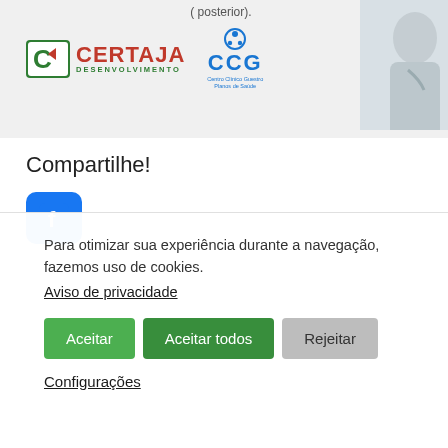( posterior).
[Figure (logo): CERTAJA Desenvolvimento logo — green square icon with stylized C arrow, red CERTAJA text, green DESENVOLVIMENTO subtitle]
[Figure (logo): CCG Centro Clinico Guestro Planos de Saúde logo — blue CCG text with blue circle icon above]
[Figure (photo): Doctor in white coat with stethoscope, blurred background, partial silhouette on right side]
Compartilhe!
[Figure (logo): Facebook share button — blue rounded square with white f icon]
Para otimizar sua experiência durante a navegação, fazemos uso de cookies. Aviso de privacidade
Aceitar | Aceitar todos | Rejeitar
Configurações